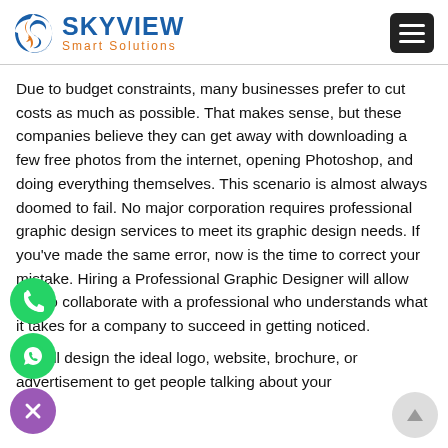SKYVIEW Smart Solutions
Due to budget constraints, many businesses prefer to cut costs as much as possible. That makes sense, but these companies believe they can get away with downloading a few free photos from the internet, opening Photoshop, and doing everything themselves. This scenario is almost always doomed to fail. No major corporation requires professional graphic design services to meet its graphic design needs. If you've made the same error, now is the time to correct your mistake. Hiring a Professional Graphic Designer will allow you to collaborate with a professional who understands what it takes for a company to succeed in getting noticed.
They'll design the ideal logo, website, brochure, or advertisement to get people talking about your